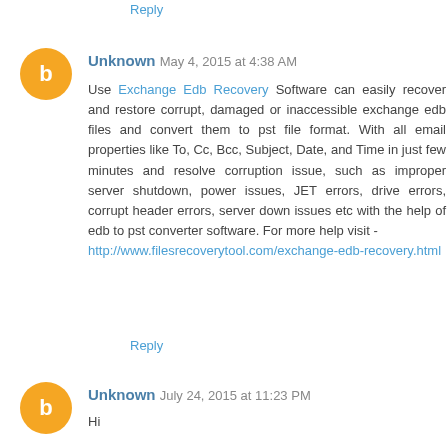Reply
Unknown May 4, 2015 at 4:38 AM
Use Exchange Edb Recovery Software can easily recover and restore corrupt, damaged or inaccessible exchange edb files and convert them to pst file format. With all email properties like To, Cc, Bcc, Subject, Date, and Time in just few minutes and resolve corruption issue, such as improper server shutdown, power issues, JET errors, drive errors, corrupt header errors, server down issues etc with the help of edb to pst converter software. For more help visit - http://www.filesrecoverytool.com/exchange-edb-recovery.html
Reply
Unknown July 24, 2015 at 11:23 PM
Hi